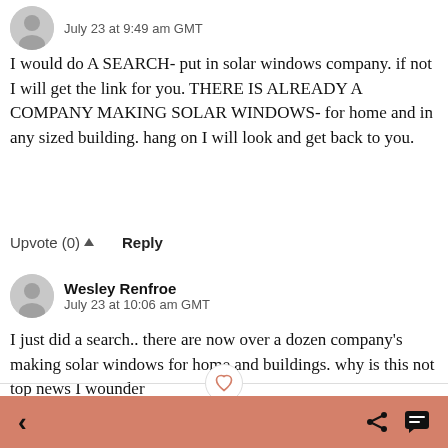July 23 at 9:49 am GMT
I would do A SEARCH- put in solar windows company. if not I will get the link for you. THERE IS ALREADY A COMPANY MAKING SOLAR WINDOWS- for home and in any sized building. hang on I will look and get back to you.
Upvote (0) ▲   Reply
Wesley Renfroe
July 23 at 10:06 am GMT
I just did a search.. there are now over a dozen company's making solar windows for home and buildings. why is this not top news I wounder
Upvote (0) ▲   Reply